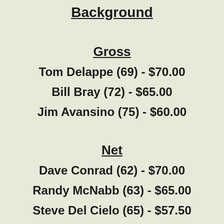Background
Gross
Tom Delappe (69) - $70.00
Bill Bray (72) - $65.00
Jim Avansino (75) - $60.00
Net
Dave Conrad (62) - $70.00
Randy McNabb (63) - $65.00
Steve Del Cielo (65) - $57.50
Larry Youngblood (65) - $57.50
Mitch Mariani (66) - $50.00